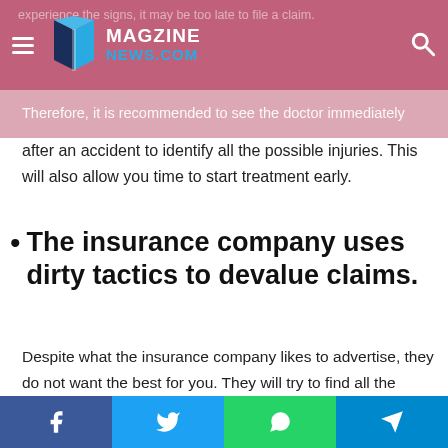MAGZINE NEWS.COM
experience the signs, it may be too late to file a claim. Therefore, it is recommended to see the doctor immediately after an accident to identify all the possible injuries. This will also allow you time to start treatment early.
The insurance company uses dirty tactics to devalue claims.
Despite what the insurance company likes to advertise, they do not want the best for you. They will try to find all the possible ways to devalue your claim. One way to do it is by saying that you are not serious about your health and well-being. When you do not visit the doctor after an accident, you may come off as someone who does not care about their
Facebook | Twitter | WhatsApp | Telegram